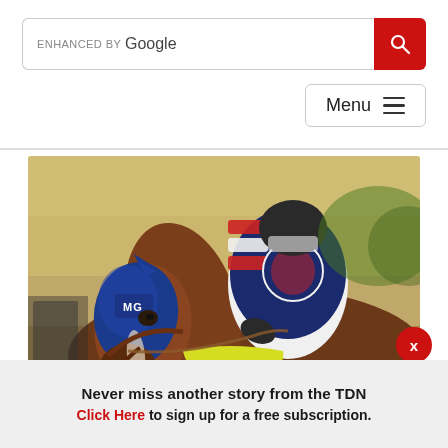[Figure (screenshot): Search bar with 'ENHANCED BY Google' text and red search button icon on the right]
[Figure (screenshot): Menu button with hamburger icon]
[Figure (photo): A racehorse named Beer Can Man wearing a blue hood with 'MG' monogram, ridden by a jockey in blue, white and red striped silks, with a yellow number cloth]
Beer Can Man | Benoit
Never miss another story from the TDN
Click Here to sign up for a free subscription.